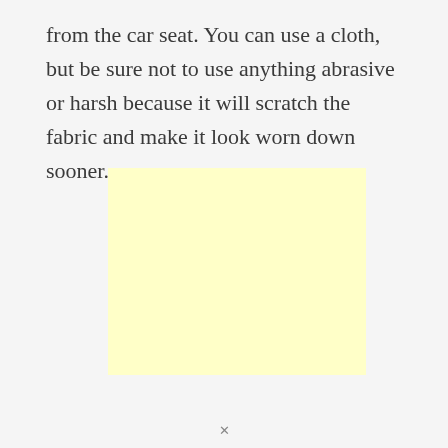from the car seat. You can use a cloth, but be sure not to use anything abrasive or harsh because it will scratch the fabric and make it look worn down sooner.
[Figure (other): A blank light yellow rectangle, likely an advertisement placeholder.]